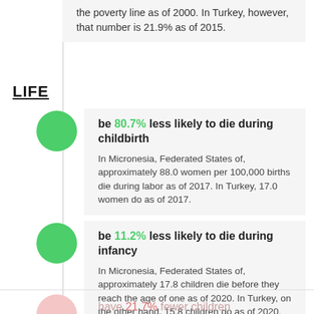the poverty line as of 2000. In Turkey, however, that number is 21.9% as of 2015.
LIFE
be 80.7% less likely to die during childbirth
In Micronesia, Federated States of, approximately 88.0 women per 100,000 births die during labor as of 2017. In Turkey, 17.0 women do as of 2017.
be 11.2% less likely to die during infancy
In Micronesia, Federated States of, approximately 17.8 children die before they reach the age of one as of 2020. In Turkey, on the other hand, 15.8 children do as of 2020.
have 21.7% fewer children